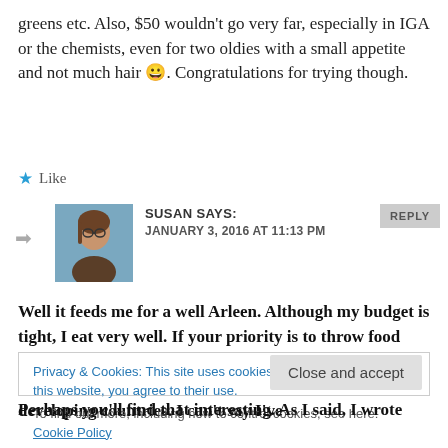greens etc. Also, $50 wouldn't go very far, especially in IGA or the chemists, even for two oldies with a small appetite and not much hair 😀. Congratulations for trying though.
Like
SUSAN SAYS:
JANUARY 3, 2016 AT 11:13 PM
[Figure (photo): Avatar photo of Susan, woman with glasses]
Well it feeds me for a well Arleen. Although my budget is tight, I eat very well. If your priority is to throw food away rather than cut around bugs, you will continue to waste food, another great source of emissions in developing countries. I can't say I've
Privacy & Cookies: This site uses cookies. By continuing to use this website, you agree to their use.
To find out more, including how to control cookies, see here: Cookie Policy
Close and accept
Perhaps you'll find that interesting. As I said, I wrote